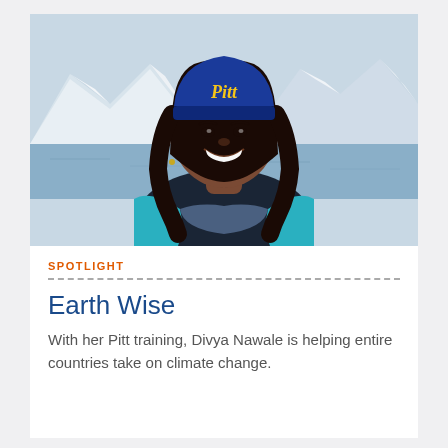[Figure (photo): Woman smiling outdoors in front of snowy mountains and a body of water, wearing a blue Pitt beanie hat and a teal/turquoise jacket. The background shows glacial scenery.]
SPOTLIGHT
Earth Wise
With her Pitt training, Divya Nawale is helping entire countries take on climate change.